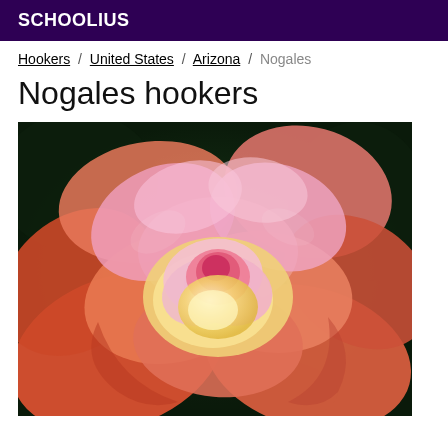SCHOOLIUS
Hookers / United States / Arizona / Nogales
Nogales hookers
[Figure (photo): Close-up photograph of a pink and orange rose with yellow center, against a dark green background.]